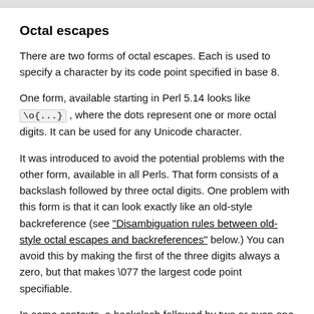Octal escapes
There are two forms of octal escapes. Each is used to specify a character by its code point specified in base 8.
One form, available starting in Perl 5.14 looks like \o{...} , where the dots represent one or more octal digits. It can be used for any Unicode character.
It was introduced to avoid the potential problems with the other form, available in all Perls. That form consists of a backslash followed by three octal digits. One problem with this form is that it can look exactly like an old-style backreference (see "Disambiguation rules between old-style octal escapes and backreferences" below.) You can avoid this by making the first of the three digits always a zero, but that makes \077 the largest code point specifiable.
In some contexts, a backslash followed by two or even one octal digits may be interpreted as an octal escape,